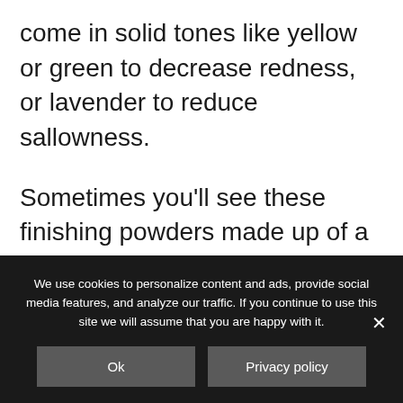come in solid tones like yellow or green to decrease redness, or lavender to reduce sallowness.

Sometimes you'll see these finishing powders made up of a few different colors, put together like a mosaic. The colors never show up on the skin once applied – instead they help to correct the color that is already in the skin, and give a
We use cookies to personalize content and ads, provide social media features, and analyze our traffic. If you continue to use this site we will assume that you are happy with it.